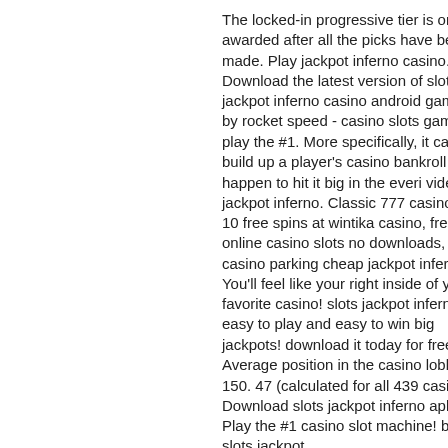The locked-in progressive tier is only awarded after all the picks have been made. Play jackpot inferno casino. Download the latest version of slots jackpot inferno casino android game apk by rocket speed - casino slots games play the #1. More specifically, it can help build up a player's casino bankroll if they happen to hit it big in the everi video slot jackpot inferno. Classic 777 casino ios, 10 free spins at wintika casino, free online casino slots no downloads, crown casino parking cheap jackpot inferno. You'll feel like your right inside of your favorite casino! slots jackpot inferno is easy to play and easy to win big jackpots! download it today for free. Average position in the casino lobbies is 150. 47 (calculated for all 439 casinos). Download slots jackpot inferno apk 1. Play the #1 casino slot machine! best slots jackpot